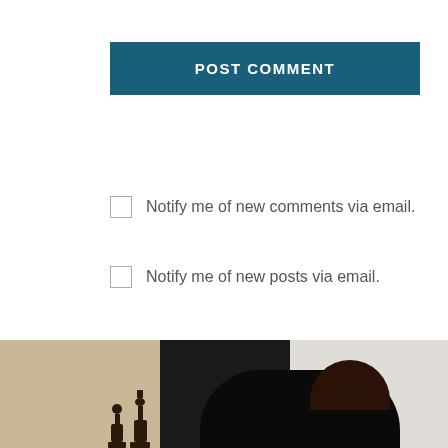POST COMMENT
Notify me of new comments via email.
Notify me of new posts via email.
This site uses Akismet to reduce spam. Learn how your comment data is processed.
[Figure (photo): Photo of a person with dark hair next to chess pieces, partially visible at the bottom of the page]